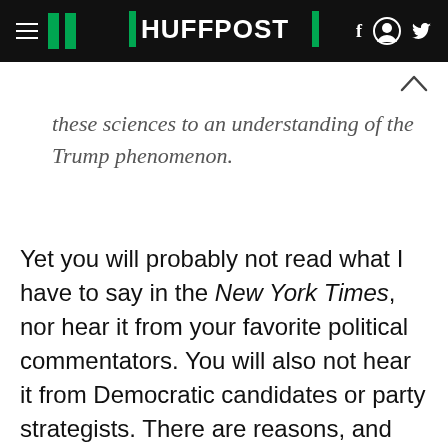HUFFPOST
these sciences to an understanding of the Trump phenomenon.
Yet you will probably not read what I have to say in the New York Times, nor hear it from your favorite political commentators. You will also not hear it from Democratic candidates or party strategists. There are reasons, and we will discuss them later this piece. I am writing it because I think it is right and it is needed, even though it comes from the cognitive and brain sciences, not from the normal political sources. I